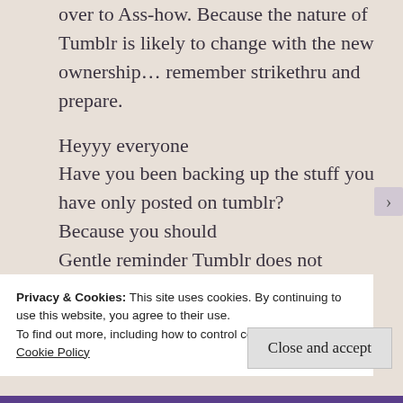over to Ass-how. Because the nature of Tumblr is likely to change with the new ownership… remember strikethru and prepare.

Heyyy everyone
Have you been backing up the stuff you have only posted on tumblr?
Because you should
Gentle reminder Tumblr does not
Privacy & Cookies: This site uses cookies. By continuing to use this website, you agree to their use.
To find out more, including how to control cookies, see here:
Cookie Policy
Close and accept